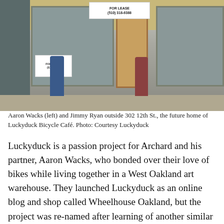[Figure (photo): Two men standing outside a storefront at 302 12th St. with 'For Lease' signs in the windows. A green bicycle is being walked by the man on the left (Aaron Wacks), and several blue/other bicycles are leaned against the building on the right. The man on the right (Jimmy Ryan) is standing at the door.]
Aaron Wacks (left) and Jimmy Ryan outside 302 12th St., the future home of Luckyduck Bicycle Café. Photo: Courtesy Luckyduck
Luckyduck is a passion project for Archard and his partner, Aaron Wacks, who bonded over their love of bikes while living together in a West Oakland art warehouse. They launched Luckyduck as an online blog and shop called Wheelhouse Oakland, but the project was re-named after learning of another similar project, called The Wheelhouse, in Los Angeles.